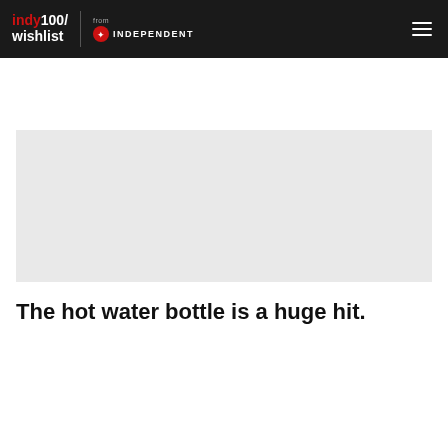indy100/wishlist from INDEPENDENT
[Figure (other): Gray placeholder image area]
The hot water bottle is a huge hit.